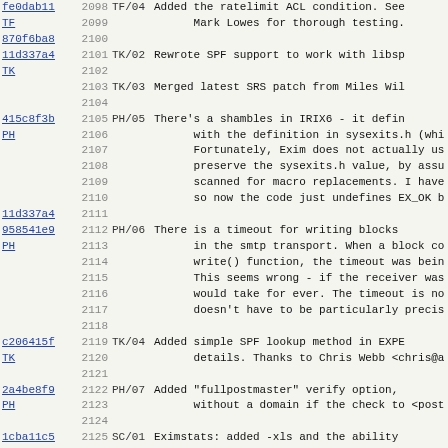| hash | author | line | tag | text |
| --- | --- | --- | --- | --- |
| fe0dab11 | TF | 2098 | TF/04 | Added the ratelimit ACL condition. See |
|  |  | 2099 |  | Mark Lowes for thorough testing. |
| 870f6ba8 |  | 2100 |  |  |
| 11d337a4 | TK | 2101 | TK/02 | Rewrote SPF support to work with libsp |
|  |  | 2102 |  |  |
|  |  | 2103 | TK/03 | Merged latest SRS patch from Miles Wil |
|  |  | 2104 |  |  |
| 415c8f3b | PH | 2105 | PH/05 | There's a shambles in IRIX6 - it defin |
|  |  | 2106 |  | with the definition in sysexits.h (whi |
|  |  | 2107 |  | Fortunately, Exim does not actually us |
|  |  | 2108 |  | preserve the sysexits.h value, by assu |
|  |  | 2109 |  | scanned for macro replacements. I have |
|  |  | 2110 |  | so now the code just undefines EX_OK b |
| 11d337a4 |  | 2111 |  |  |
| 958541e9 | PH | 2112 | PH/06 | There is a timeout for writing blocks |
|  |  | 2113 |  | in the smtp transport. When a block co |
|  |  | 2114 |  | write() function, the timeout was bein |
|  |  | 2115 |  | This seems wrong - if the receiver was |
|  |  | 2116 |  | would take for ever. The timeout is no |
|  |  | 2117 |  | doesn't have to be particularly precis |
|  |  | 2118 |  |  |
| c206415f | TK | 2119 | TK/04 | Added simple SPF lookup method in EXPE |
|  |  | 2120 |  | details. Thanks to Chris Webb <chris@a |
|  |  | 2121 |  |  |
| 2a4be8f9 | PH | 2122 | PH/07 | Added "fullpostmaster" verify option, |
|  |  | 2123 |  | without a domain if the check to <post |
|  |  | 2124 |  |  |
| 1cba11c5 | SC | 2125 | SC/01 | Eximstats: added -xls and the ability |
|  |  | 2126 |  | (patch written by Frank Heydlauf). |
|  |  | 2127 |  |  |
|  |  | 2128 | SC/02 | Eximstats: use FileHandles for outputi |
|  |  | 2129 |  |  |
|  |  | 2130 | SC/02 | Eximstats: allow any combination of... |